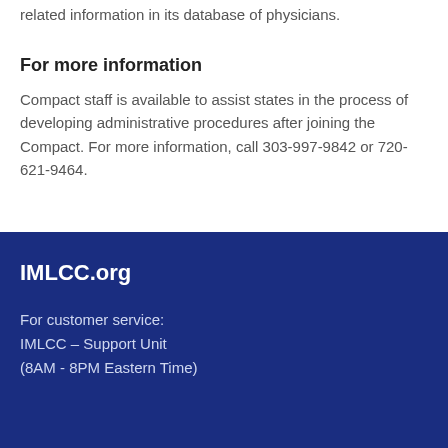related information in its database of physicians.
For more information
Compact staff is available to assist states in the process of developing administrative procedures after joining the Compact. For more information, call 303-997-9842 or 720-621-9464.
IMLCC.org
For customer service:
IMLCC – Support Unit
(8AM - 8PM Eastern Time)